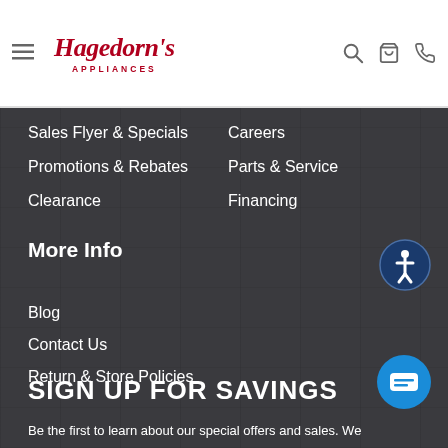[Figure (logo): Hagedorn's Appliances logo with hamburger menu, search, cart, and phone icons in header]
Sales Flyer & Specials
Promotions & Rebates
Clearance
Careers
Parts & Service
Financing
More Info
Blog
Contact Us
Return & Store Policies
SIGN UP FOR SAVINGS
Be the first to learn about our special offers and sales. We